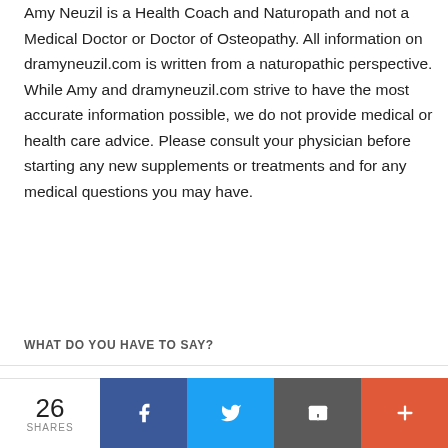Amy Neuzil is a Health Coach and Naturopath and not a Medical Doctor or Doctor of Osteopathy. All information on dramyneuzil.com is written from a naturopathic perspective. While Amy and dramyneuzil.com strive to have the most accurate information possible, we do not provide medical or health care advice. Please consult your physician before starting any new supplements or treatments and for any medical questions you may have.
WHAT DO YOU HAVE TO SAY?